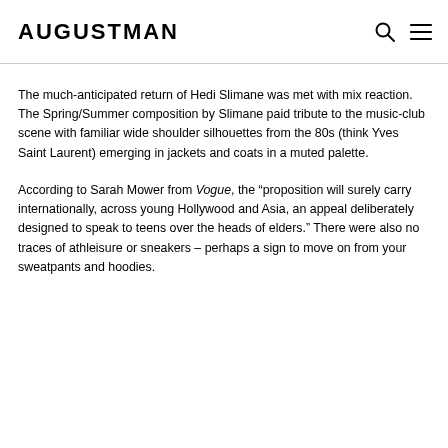AUGUSTMAN
The much-anticipated return of Hedi Slimane was met with mix reaction. The Spring/Summer composition by Slimane paid tribute to the music-club scene with familiar wide shoulder silhouettes from the 80s (think Yves Saint Laurent) emerging in jackets and coats in a muted palette.
According to Sarah Mower from Vogue, the “proposition will surely carry internationally, across young Hollywood and Asia, an appeal deliberately designed to speak to teens over the heads of elders.” There were also no traces of athleisure or sneakers – perhaps a sign to move on from your sweatpants and hoodies.